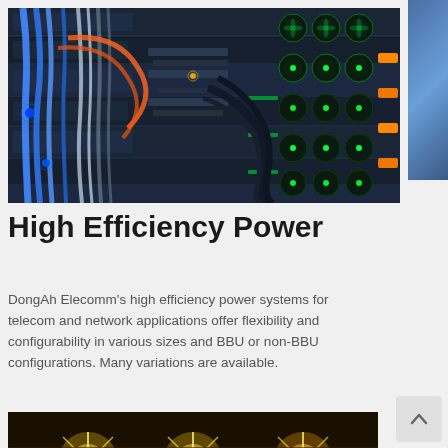[Figure (photo): Close-up photograph of server rack equipment with colorful cables (blue, white, orange), green LED cooling fans, and network hardware components illuminated in a dark setting.]
High Efficiency Power
DongAh Elecomm's high efficiency power systems for telecom and network applications offer flexibility and configurability in various sizes and BBU or non-BBU configurations. Many variations are available.
[Figure (photo): Photograph of bright starburst lights (yellow/orange) visible at the bottom of the page, partially cropped, appearing to show outdoor lighting equipment or streetlights at night.]